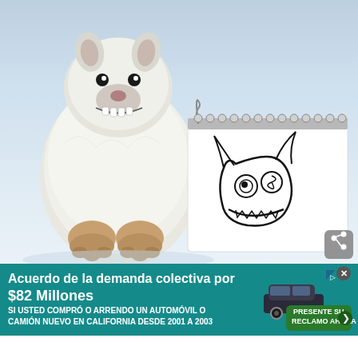[Figure (photo): A white arctic fox sitting in snow next to a spiral notebook. The fox has a grinning, toothy expression. The notebook shows a child-like drawing of the fox's face with a wide toothy grin, spiral eyes, and pointy ears. The background is a light blue-grey snowy scene.]
[Figure (illustration): An advertisement banner with teal background. Text reads: 'Acuerdo de la demanda colectiva por $82 Millones' and 'SI USTED COMPRÓ O ARRENDO UN AUTOMÓVIL O CAMIÓN NUEVO EN CALIFORNIA DESDE 2001 A 2003'. Shows an image of an SUV/truck and a green call-to-action button 'PRESENTE SU RECLAMO AHORA'.]